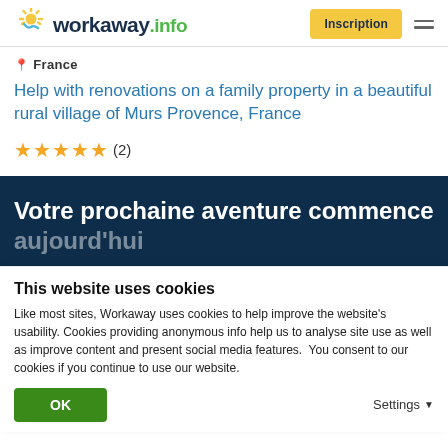[Figure (logo): Workaway.info logo with sun icon in yellow and blue]
Inscription
France
Help with renovations on a family property in a beautiful rural village of Murs Provence, France
★★★★★ (2)
Votre prochaine aventure commence aujourd'hui
This website uses cookies
Like most sites, Workaway uses cookies to help improve the website's usability. Cookies providing anonymous info help us to analyse site use as well as improve content and present social media features.  You consent to our cookies if you continue to use our website.
OK
Settings